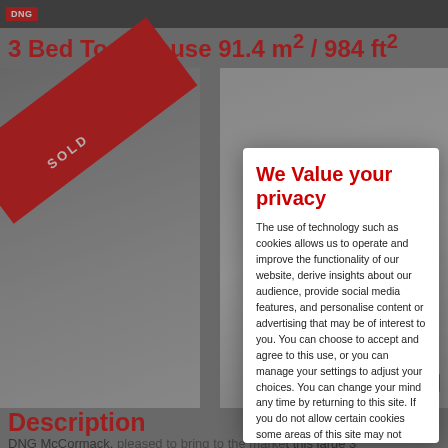DNG
3 Bed Townhouse 91.4 m² / 984 ft²
[Figure (photo): Street-level photo of a 3-bed townhouse with a red SOLD ribbon overlaid diagonally, showing a stone-faced building on the left and a modern white building on the right]
View All (17)
Description
DNG McCormack, pleased to bring to the market this large 3
We Value your privacy

The use of technology such as cookies allows us to operate and improve the functionality of our website, derive insights about our audience, provide social media features, and personalise content or advertising that may be of interest to you. You can choose to accept and agree to this use, or you can manage your settings to adjust your choices. You can change your mind any time by returning to this site. If you do not allow certain cookies some areas of this site may not function as intended.